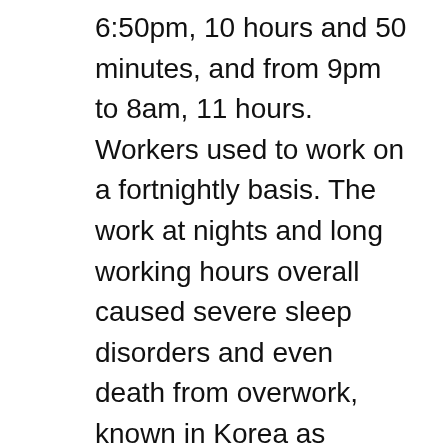6:50pm, 10 hours and 50 minutes, and from 9pm to 8am, 11 hours. Workers used to work on a fortnightly basis. The work at nights and long working hours overall caused severe sleep disorders and even death from overwork, known in Korea as "gwarosa". With the new system in place Korean autoworkers will be able to enjoy a better quality of life.
According to local news reports the company plans to invest a total of 300 billion won (US$282 million) to make the facility more efficient to make up for the slightly shorter shifts. Hyundai Motor's sister company Kia Motors is also getting rid of night shifts on 4 March. The work hours will be the same as at Hyundai.